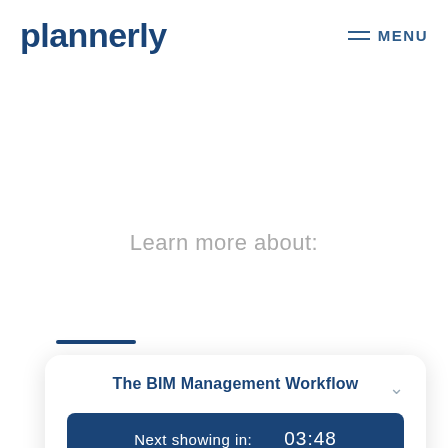plannerly  MENU
Learn more about:
The BIM Management Workflow
Next showing in:  03:48
4 more sessions ›